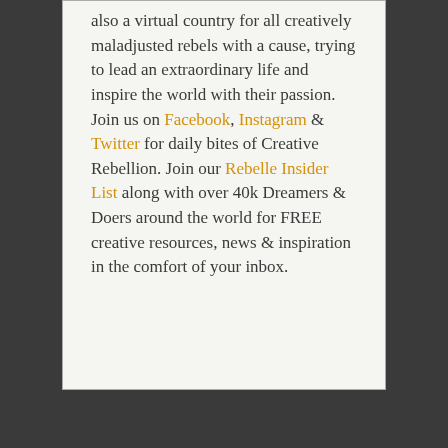also a virtual country for all creatively maladjusted rebels with a cause, trying to lead an extraordinary life and inspire the world with their passion. Join us on Facebook, Instagram & Twitter for daily bites of Creative Rebellion. Join our Rebelle Insider List along with over 40k Dreamers & Doers around the world for FREE creative resources, news & inspiration in the comfort of your inbox.